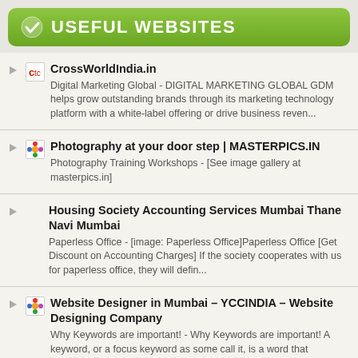USEFUL WEBSITES
CrossWorldIndia.in — Digital Marketing Global - DIGITAL MARKETING GLOBAL GDM helps grow outstanding brands through its marketing technology platform with a white-label offering or drive business reven...
Photography at your door step | MASTERPICS.IN — Photography Training Workshops - [See image gallery at masterpics.in]
Housing Society Accounting Services Mumbai Thane Navi Mumbai — Paperless Office - [image: Paperless Office]Paperless Office [Get Discount on Accounting Charges] If the society cooperates with us for paperless office, they will defin...
Website Designer in Mumbai – YCCINDIA – Website Designing Company — Why Keywords are important! - Why Keywords are important! A keyword, or a focus keyword as some call it, is a word that describes the content on your page or post best. It's the searc...
Fashion Designer Mumbai Thane — Festiv Diya – dress your dreams - elegance at dm to dress your